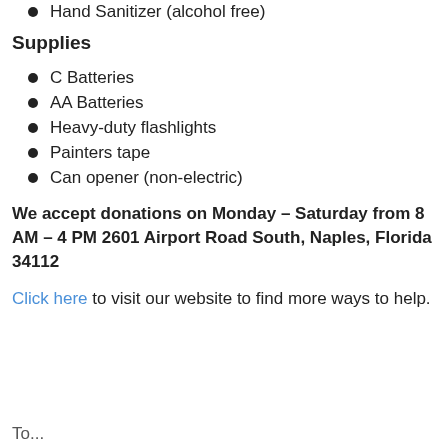Hand Sanitizer (alcohol free)
Supplies
C Batteries
AA Batteries
Heavy-duty flashlights
Painters tape
Can opener (non-electric)
We accept donations on Monday – Saturday from 8 AM – 4 PM 2601 Airport Road South, Naples, Florida 34112
Click here to visit our website to find more ways to help.
To...